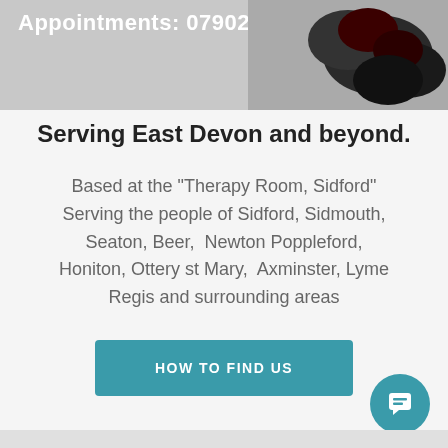[Figure (photo): Top banner with partial text 'Appointments: 07902 500211' visible and a photo of gloved hands on the right side]
Serving East Devon and beyond.
Based at the "Therapy Room, Sidford" Serving the people of Sidford, Sidmouth, Seaton, Beer,  Newton Poppleford, Honiton, Ottery st Mary,  Axminster, Lyme Regis and surrounding areas
HOW TO FIND US